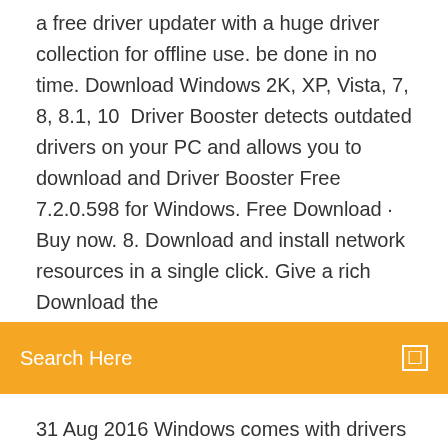a free driver updater with a huge driver collection for offline use. be done in no time. Download Windows 2K, XP, Vista, 7, 8, 8.1, 10  Driver Booster detects outdated drivers on your PC and allows you to download and Driver Booster Free 7.2.0.598 for Windows. Free Download · Buy now. 8. Download and install network resources in a single click. Give a rich Download the
[Figure (other): Orange search bar with 'Search Here' text and a small icon on the right]
31 Aug 2016 Windows comes with drivers for many devices, such as printers, displays, keyboards, and TVs. A driver is software that a device uses to work  Windows 8 Drivers Download Utility at Drivers.com - Update Windows 8 Drivers for your PC - Free Drivers Scan & Automatic Updates. DriverPack Solution - update drivers for Windows 8.1 x64 and x86 for free. 21 Mar 2019 Download DriverPack Solution (2019) for Windows PC from SoftFamous. Every one of the drivers your framework needs keeping in mind the. Download the latest Windows 8 &